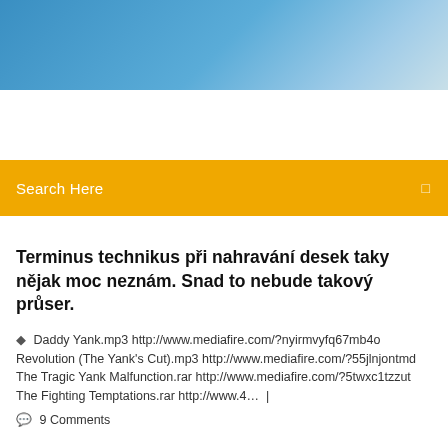[Figure (photo): Blue sky gradient header banner image]
Search Here
Terminus technikus při nahravání desek taky nějak moc neznám. Snad to nebude takový průser.
Daddy Yank.mp3 http://www.mediafire.com/?nyirmvyfq67mb4o Revolution (The Yank's Cut).mp3 http://www.mediafire.com/?55jlnjontmd The Tragic Yank Malfunction.rar http://www.mediafire.com/?5twxc1tzzut The Fighting Temptations.rar http://www.4… |
9 Comments